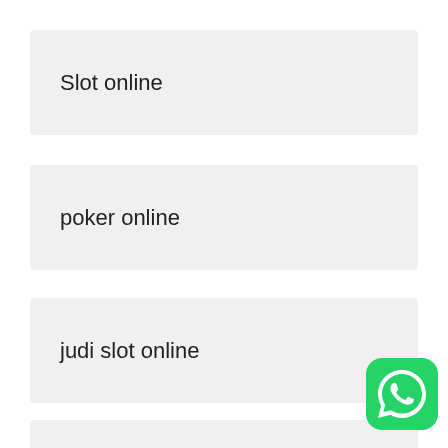Slot online
poker online
judi slot online
slot online
[Figure (logo): WhatsApp logo icon, green rounded square with white phone handset inside, with a pink/red circular highlight behind it]